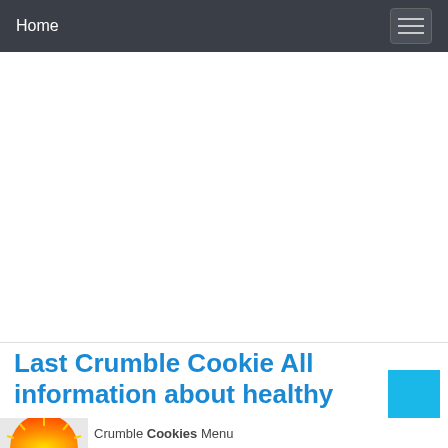Home
[Figure (other): Large white blank area, possibly an advertisement or image placeholder]
Last Crumble Cookie All information about healthy
[Figure (illustration): Cookie/sun logo with orange and yellow gradient semicircle]
Crumble Cookies Menu